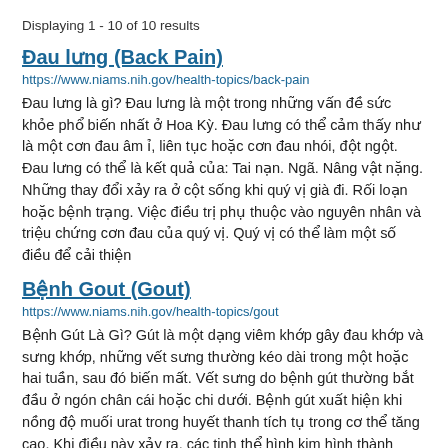Displaying 1 - 10 of 10 results
Đau lưng (Back Pain)
https://www.niams.nih.gov/health-topics/back-pain
Đau lưng là gì? Đau lưng là một trong những vấn đề sức khỏe phổ biến nhất ở Hoa Kỳ. Đau lưng có thể cảm thấy như là một cơn đau âm ỉ, liên tục hoặc cơn đau nhói, đột ngột. Đau lưng có thể là kết quả của: Tai nạn. Ngã. Nâng vật nặng. Những thay đổi xảy ra ở cột sống khi quý vị già đi. Rối loạn hoặc bệnh trạng. Việc điều trị phụ thuộc vào nguyên nhân và triệu chứng cơn đau của quý vị. Quý vị có thể làm một số điều để cải thiện
Bệnh Gout (Gout)
https://www.niams.nih.gov/health-topics/gout
Bệnh Gút Là Gì? Gút là một dạng viêm khớp gây đau khớp và sưng khớp, những vết sưng thường kéo dài trong một hoặc hai tuần, sau đó biến mất. Vết sưng do bệnh gút thường bắt đầu ở ngón chân cái hoặc chi dưới. Bệnh gút xuất hiện khi nồng độ muối urat trong huyết thanh tích tụ trong cơ thể tăng cao. Khi điều này xảy ra, các tinh thể hình kim hình thành trong khớp và xung quanh khớp. Tình trạng này dẫn đến viêm và viêm khớp. Tuy nhiên, nhiều người có nồng độ muối